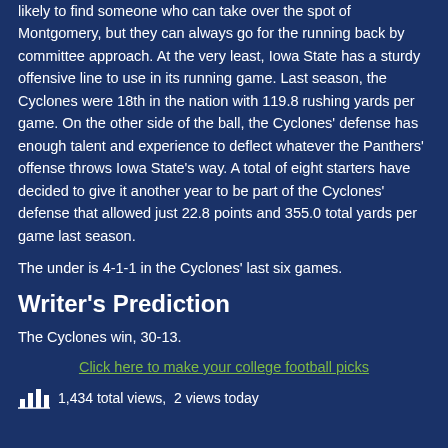likely to find someone who can take over the spot of Montgomery, but they can always go for the running back by committee approach. At the very least, Iowa State has a sturdy offensive line to use in its running game. Last season, the Cyclones were 18th in the nation with 119.8 rushing yards per game. On the other side of the ball, the Cyclones' defense has enough talent and experience to deflect whatever the Panthers' offense throws Iowa State's way. A total of eight starters have decided to give it another year to be part of the Cyclones' defense that allowed just 22.8 points and 355.0 total yards per game last season.
The under is 4-1-1 in the Cyclones' last six games.
Writer's Prediction
The Cyclones win, 30-13.
Click here to make your college football picks
1,434 total views,  2 views today